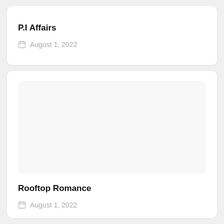P.I Affairs
August 1, 2022
[Figure (illustration): Blank white image area for Rooftop Romance card]
Rooftop Romance
August 1, 2022